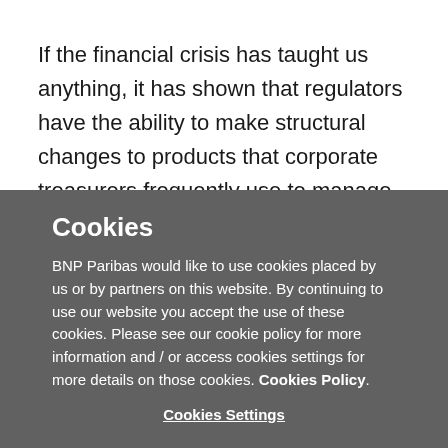If the financial crisis has taught us anything, it has shown that regulators have the ability to make structural changes to products that corporate treasurers frequently use to manage liquidity. From Dodd-Frank to Basel III, meaningful changes have been made to the financial sector in an effort to mitigate any
Cookies
BNP Paribas would like to use cookies placed by us or by partners on this website. By continuing to use our website you accept the use of these cookies. Please see our cookie policy for more information and / or access cookies settings for more details on those cookies. Cookies Policy
Cookies Settings